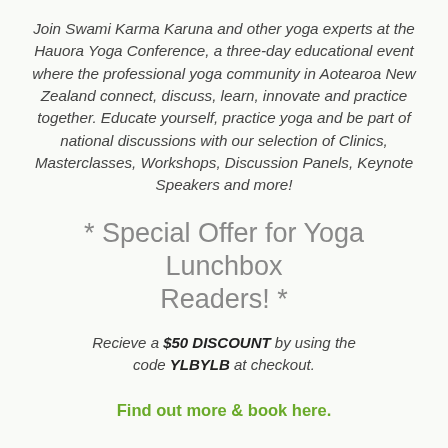Join Swami Karma Karuna and other yoga experts at the Hauora Yoga Conference, a three-day educational event where the professional yoga community in Aotearoa New Zealand connect, discuss, learn, innovate and practice together. Educate yourself, practice yoga and be part of national discussions with our selection of Clinics, Masterclasses, Workshops, Discussion Panels, Keynote Speakers and more!
* Special Offer for Yoga Lunchbox Readers! *
Recieve a $50 DISCOUNT by using the code YLBYLB at checkout.
Find out more & book here.